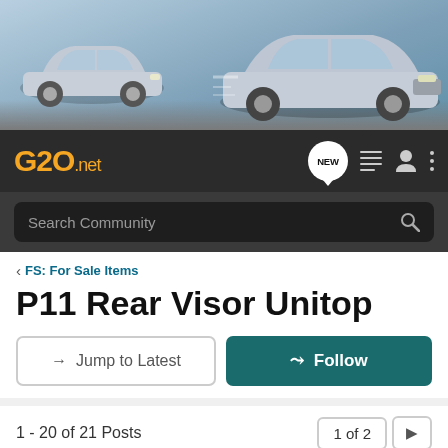[Figure (photo): Website header banner with two silver cars on a blue-grey background]
G20.net navigation bar with logo, NEW bubble, list icon, user icon, and more options icon
Search Community
< FS: For Sale Items
P11 Rear Visor Unitop
→ Jump to Latest
+ Follow
1 - 20 of 21 Posts
1 of 2
Lou831 · I loVE AR2